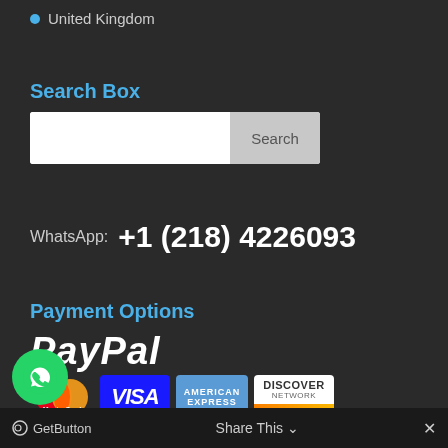United Kingdom
Search Box
[Figure (screenshot): Search input box with a Search button]
WhatsApp: +1 (218) 4226093
Payment Options
[Figure (logo): PayPal logo in white italic bold text]
[Figure (infographic): Payment card logos: MasterCard, VISA, American Express, Discover Network]
[Figure (logo): WhatsApp chat button (green circle with phone icon)]
GetButton   Share This ∨   ✕